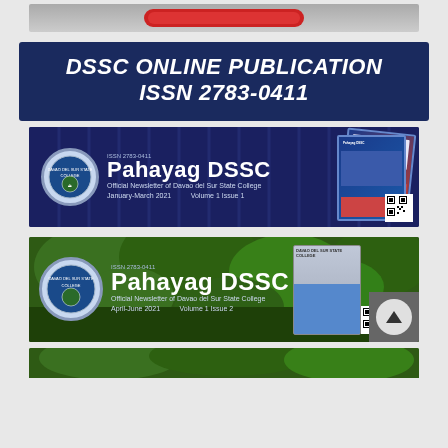[Figure (screenshot): Partial top red button strip from a website]
[Figure (screenshot): DSSC Online Publication ISSN 2783-0411 dark blue banner]
[Figure (screenshot): Pahayag DSSC Official Newsletter of Davao del Sur State College banner - Volume 1 Issue 1, January-March 2021, with stacked magazine covers]
[Figure (screenshot): Pahayag DSSC Official Newsletter of Davao del Sur State College banner - Volume 1 Issue 2, April-June 2021, with outdoor greenery background and QR code, and scroll-up button]
[Figure (screenshot): Partially visible third Pahayag DSSC banner at bottom with green outdoor background]